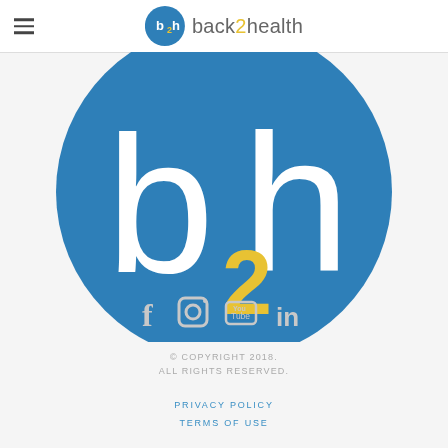[Figure (logo): back2health logo in header: small blue circle with b2h text and 'back2health' wordmark]
[Figure (logo): Large back2health logo circle showing b2h with yellow 2, blue background, partially cropped]
[Figure (infographic): Social media icons row: Facebook, Instagram, YouTube, LinkedIn — all in light gray]
© COPYRIGHT 2018.
ALL RIGHTS RESERVED.
PRIVACY POLICY
TERMS OF USE